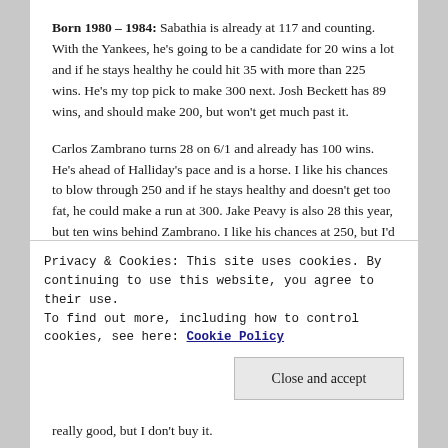Born 1980 – 1984: Sabathia is already at 117 and counting. With the Yankees, he's going to be a candidate for 20 wins a lot and if he stays healthy he could hit 35 with more than 225 wins. He's my top pick to make 300 next. Josh Beckett has 89 wins, and should make 200, but won't get much past it.
Carlos Zambrano turns 28 on 6/1 and already has 100 wins. He's ahead of Halliday's pace and is a horse. I like his chances to blow through 250 and if he stays healthy and doesn't get too fat, he could make a run at 300. Jake Peavy is also 28 this year, but ten wins behind Zambrano. I like his chances at 250, but I'd like them better if he were on good teams.
Privacy & Cookies: This site uses cookies. By continuing to use this website, you agree to their use.
To find out more, including how to control cookies, see here: Cookie Policy
really good, but I don't buy it.